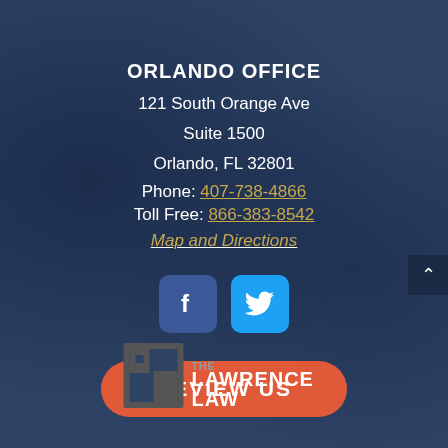ORLANDO OFFICE
121 South Orange Ave
Suite 1500
Orlando, FL 32801
Phone: 407-738-4866
Toll Free: 866-383-8542
Map and Directions
[Figure (infographic): Facebook and Twitter social media icon buttons (blue rounded square icons with white f and bird logos)]
[Figure (infographic): Orange rounded rectangle button with white bold text: REVIEW US]
[Figure (logo): The Lawrence Law firm logo with geometric icon and text THE LAWRENCE LAW in white and gray]